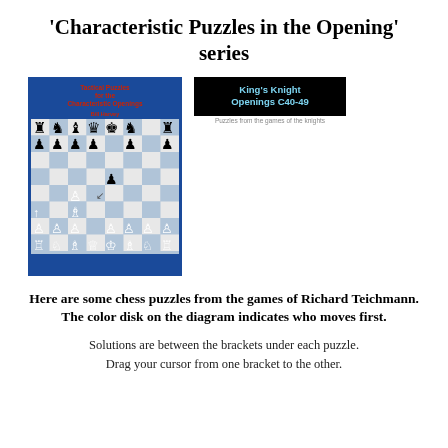'Characteristic Puzzles in the Opening' series
[Figure (illustration): Book cover of 'Characteristic Puzzles in the Opening' for King's Knight Openings C40-49, showing a chess board position with pieces, blue background with red title text. Next to it is a black banner label reading 'King's Knight Openings C40-49'.]
Here are some chess puzzles from the games of Richard Teichmann. The color disk on the diagram indicates who moves first.
Solutions are between the brackets under each puzzle. Drag your cursor from one bracket to the other.